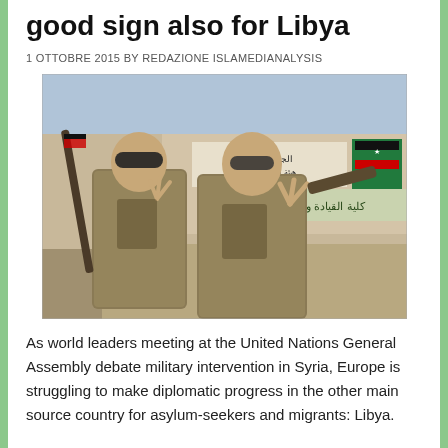good sign also for Libya
1 OTTOBRE 2015 BY REDAZIONE ISLAMEDIANALYSIS
[Figure (photo): Two soldiers in camouflage uniforms making peace/victory signs with their hands, carrying weapons, standing in front of a building with Arabic script signage and a Libyan flag.]
As world leaders meeting at the United Nations General Assembly debate military intervention in Syria, Europe is struggling to make diplomatic progress in the other main source country for asylum-seekers and migrants: Libya.